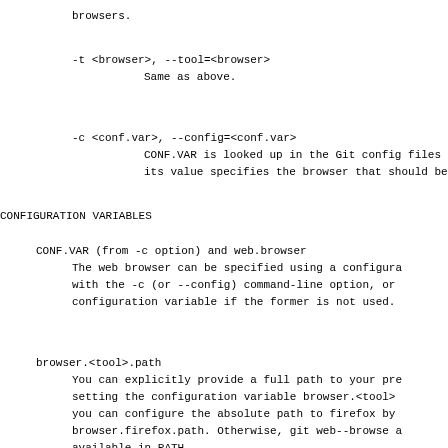browsers.
-t <browser>, --tool=<browser>
    Same as above.
-c <conf.var>, --config=<conf.var>
    CONF.VAR is looked up in the Git config files
    its value specifies the browser that should be
CONFIGURATION VARIABLES
CONF.VAR (from -c option) and web.browser
    The web browser can be specified using a configura
    with the -c (or --config) command-line option, or
    configuration variable if the former is not used.
browser.<tool>.path
    You can explicitly provide a full path to your pre
    setting the configuration variable browser.<tool>
    you can configure the absolute path to firefox by
    browser.firefox.path. Otherwise, git web--browse a
    available in PATH.
browser.<tool>.cmd
    When the browser, specified by options or configur
    not among the supported ones, then the correspondi
    configuration variable will be looked up. If this
    git web--browse will treat the specified tool as a
    will use a shell eval to run the command with the
    arguments.
NOTE ABOUT MANVIEWER